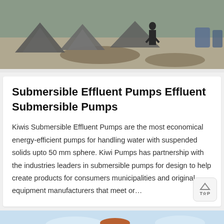[Figure (photo): Outdoor scene with tents and people on a dirt/gravel ground, grey tones]
Submersible Effluent Pumps Effluent Submersible Pumps
Kiwis Submersible Effluent Pumps are the most economical energy-efficient pumps for handling water with suspended solids upto 50 mm sphere. Kiwi Pumps has partnership with the industries leaders in submersible pumps for design to help create products for consumers municipalities and original equipment manufacturers that meet or…
[Figure (photo): Orange/copper colored submersible pump equipment against a light blue sky background, shown in duplicate side by side]
[Figure (photo): Customer service person with headset at bottom left, part of chat interface bar]